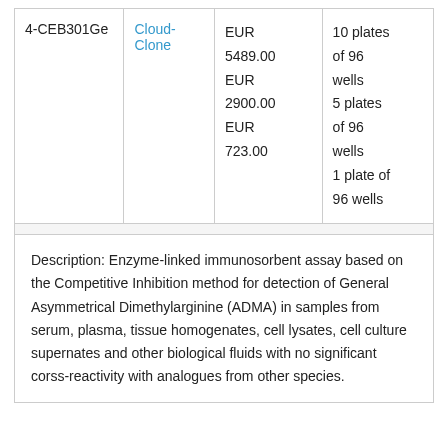| Catalog | Supplier | Price | Quantity |
| --- | --- | --- | --- |
| 4-CEB301Ge | Cloud-Clone | EUR 5489.00
EUR 2900.00
EUR 723.00 | 10 plates of 96 wells
5 plates of 96 wells
1 plate of 96 wells |
Description: Enzyme-linked immunosorbent assay based on the Competitive Inhibition method for detection of General Asymmetrical Dimethylarginine (ADMA) in samples from serum, plasma, tissue homogenates, cell lysates, cell culture supernates and other biological fluids with no significant corss-reactivity with analogues from other species.